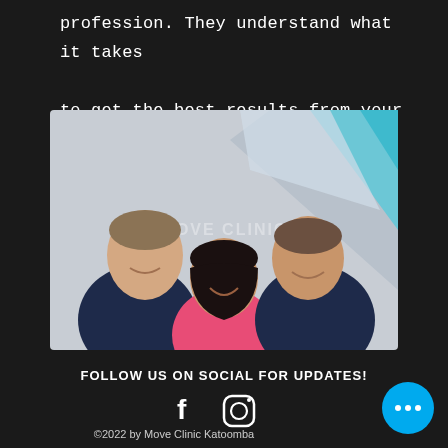profession. They understand what it takes to get the best results from your body.
[Figure (photo): Group photo of three physiotherapists/staff from Move Clinic standing in front of a branded backdrop with geometric teal and white design. Two men in navy polo shirts flank a woman in a pink shirt, all smiling.]
FOLLOW US ON SOCIAL FOR UPDATES!
[Figure (illustration): Social media icons: Facebook 'f' logo and Instagram camera logo in white on dark background]
©2022 by Move Clinic Katoomba